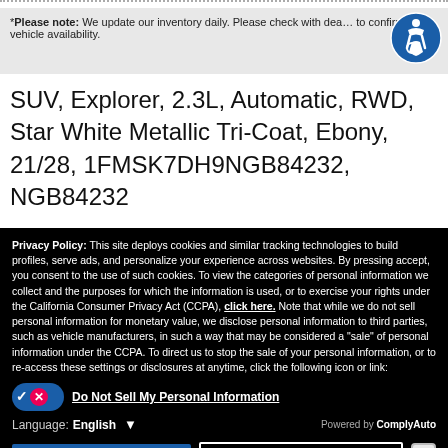*Please note: We update our inventory daily. Please check with dealer to confirm vehicle availability.
SUV, Explorer, 2.3L, Automatic, RWD, Star White Metallic Tri-Coat, Ebony, 21/28, 1FMSK7DH9NGB84232, NGB84232
CLICK TO CALL
VIEW DETAILS
Privacy Policy: This site deploys cookies and similar tracking technologies to build profiles, serve ads, and personalize your experience across websites. By pressing accept, you consent to the use of such cookies. To view the categories of personal information we collect and the purposes for which the information is used, or to exercise your rights under the California Consumer Privacy Act (CCPA), click here. Note that while we do not sell personal information for monetary value, we disclose personal information to third parties, such as vehicle manufacturers, in such a way that may be considered a "sale" of personal information under the CCPA. To direct us to stop the sale of your personal information, or to re-access these settings or disclosures at anytime, click the following icon or link:
Do Not Sell My Personal Information
Language: English
Powered by ComplyAuto
Accept and Continue →
California Privacy Disclosures